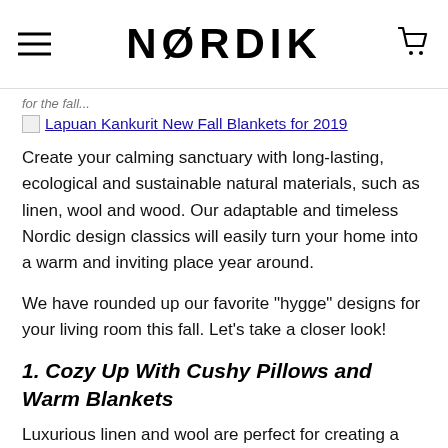NORDIK
for the fall...
[Figure (screenshot): Thumbnail image placeholder for Lapuan Kankurit New Fall Blankets for 2019 article link]
Create your calming sanctuary with long-lasting, ecological and sustainable natural materials, such as linen, wool and wood. Our adaptable and timeless Nordic design classics will easily turn your home into a warm and inviting place year around.
We have rounded up our favorite "hygge" designs for your living room this fall. Let's take a closer look!
1. Cozy Up With Cushy Pillows and Warm Blankets
Luxurious linen and wool are perfect for creating a comfortable environment to cozy up in your living